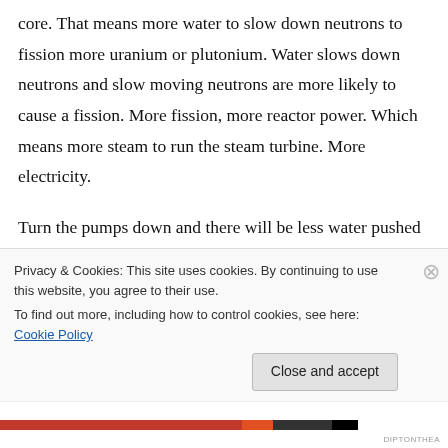core. That means more water to slow down neutrons to fission more uranium or plutonium. Water slows down neutrons and slow moving neutrons are more likely to cause a fission. More fission, more reactor power. Which means more steam to run the steam turbine. More electricity.
Turn the pumps down and there will be less water pushed through the core, so less liquid water, more steam, which means less water to slow down neutrons, so less fission, less power,
Privacy & Cookies: This site uses cookies. By continuing to use this website, you agree to their use.
To find out more, including how to control cookies, see here: Cookie Policy
Close and accept